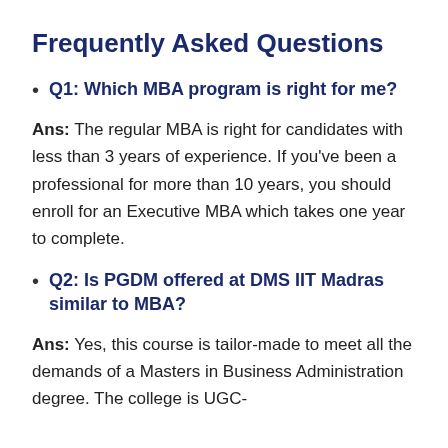Frequently Asked Questions
Q1: Which MBA program is right for me?
Ans: The regular MBA is right for candidates with less than 3 years of experience. If you've been a professional for more than 10 years, you should enroll for an Executive MBA which takes one year to complete.
Q2: Is PGDM offered at DMS IIT Madras similar to MBA?
Ans: Yes, this course is tailor-made to meet all the demands of a Masters in Business Administration degree. The college is UGC-accredited to offer the course. Besides, the